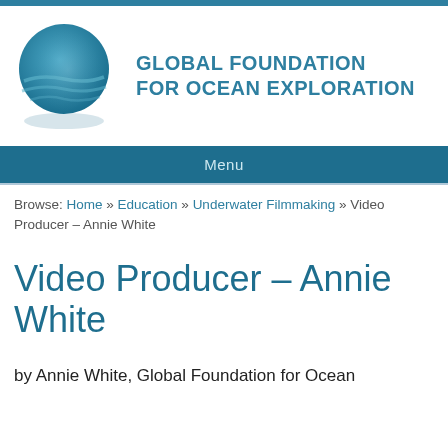[Figure (logo): Global Foundation for Ocean Exploration logo: a stylized blue head/globe icon with wave shapes beneath it]
GLOBAL FOUNDATION FOR OCEAN EXPLORATION
Menu
Browse: Home » Education » Underwater Filmmaking » Video Producer – Annie White
Video Producer – Annie White
by Annie White, Global Foundation for Ocean